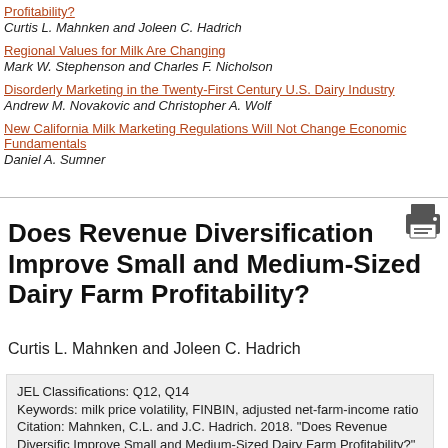Profitability?
Curtis L. Mahnken and Joleen C. Hadrich
Regional Values for Milk Are Changing
Mark W. Stephenson and Charles F. Nicholson
Disorderly Marketing in the Twenty-First Century U.S. Dairy Industry
Andrew M. Novakovic and Christopher A. Wolf
New California Milk Marketing Regulations Will Not Change Economic Fundamentals
Daniel A. Sumner
Does Revenue Diversification Improve Small and Medium-Sized Dairy Farm Profitability?
Curtis L. Mahnken and Joleen C. Hadrich
JEL Classifications: Q12, Q14
Keywords: milk price volatility, FINBIN, adjusted net-farm-income ratio
Citation: Mahnken, C.L. and J.C. Hadrich. 2018. "Does Revenue Diversification Improve Small and Medium-Sized Dairy Farm Profitability?" Choices. Quarter Available online: http://www.choicesmagazine.org/choices-magazine/theme articles/americas-dairy-industry-adapting-to-long-running-structural-